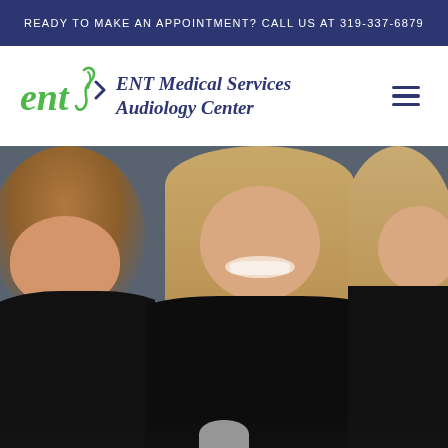READY TO MAKE AN APPOINTMENT? CALL US AT 319-337-6879
[Figure (logo): ENT Medical Services Audiology Center logo — stylized 'ent' text in green with decorative flourish, beside the full name in dark navy italic serif font]
[Figure (photo): Three smiling women in black tops against a dark grey background — partial view of woman on left, full view of woman in center with long straight hair, partial view of woman on right]